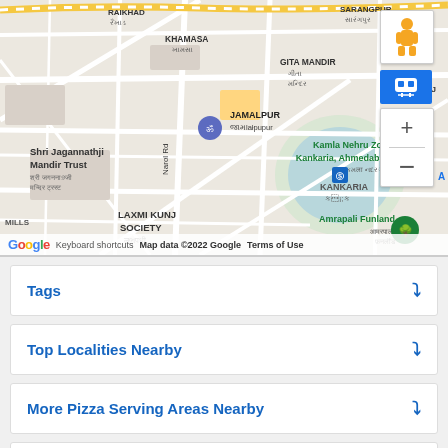[Figure (map): Google Maps showing Ahmedabad area with landmarks: Shri Jagannathji Mandir Trust, Kamla Nehru Zoo Kankaria Ahmedabad, Amrapali Funland, LAXMI KUNJ SOCIETY, KANKARIA, JAMALPUR, GITA MANDIR, KHAMASA areas visible. Map includes zoom controls and pegman icon. Map footer shows Google logo, Keyboard shortcuts, Map data ©2022 Google, Terms of Use.]
Tags
Top Localities Nearby
More Pizza Serving Areas Nearby
Categories